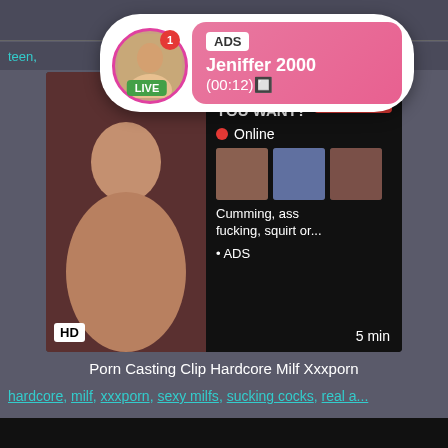[Figure (screenshot): Popup notification bubble with avatar, LIVE badge, ADS tag, name Jeniffer 2000, time (00:12)]
teen, ..., g, ...
[Figure (screenshot): Video player embed with HD badge, WHAT DO YOU WANT? WATCH button, Online indicator, thumbnails, text 'Cumming, ass fucking, squirt or... ADS', 5 min label]
Porn Casting Clip Hardcore Milf Xxxporn
hardcore, milf, xxxporn, sexy milfs, sucking cocks, real a...
[Figure (screenshot): Dark bottom video strip]